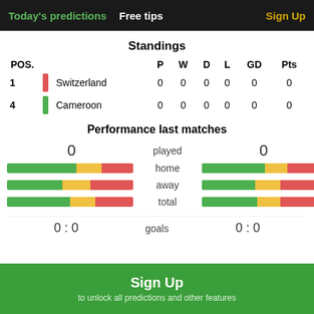Today's predictions  Free tips  Sign Up
Standings
| POS. |  |  | P | W | D | L | GD | Pts |
| --- | --- | --- | --- | --- | --- | --- | --- | --- |
| 1 | Switzerland |  | 0 | 0 | 0 | 0 | 0 | 0 |
| 4 | Cameroon |  | 0 | 0 | 0 | 0 | 0 | 0 |
Performance last matches
0  played  0
[Figure (infographic): Horizontal stacked bar charts showing home, away, total performance for two teams with green/yellow/red segments]
0 : 0  goals  0 : 0
Sign Up  to unlock all predictions and other features